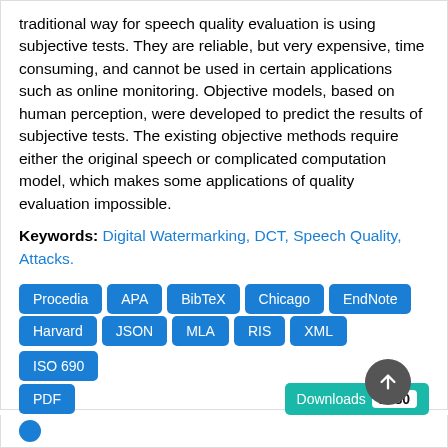traditional way for speech quality evaluation is using subjective tests. They are reliable, but very expensive, time consuming, and cannot be used in certain applications such as online monitoring. Objective models, based on human perception, were developed to predict the results of subjective tests. The existing objective methods require either the original speech or complicated computation model, which makes some applications of quality evaluation impossible.
Keywords: Digital Watermarking, DCT, Speech Quality, Attacks.
Procedia
APA
BibTeX
Chicago
EndNote
Harvard
JSON
MLA
RIS
XML
ISO 690
PDF
Downloads 1480